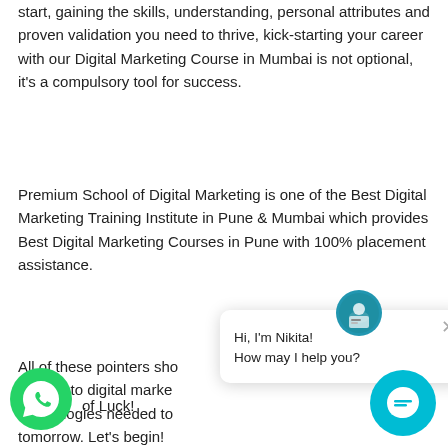start, gaining the skills, understanding, personal attributes and proven validation you need to thrive, kick-starting your career with our Digital Marketing Course in Mumbai is not optional, it's a compulsory tool for success.
Premium School of Digital Marketing is one of the Best Digital Marketing Training Institute in Pune & Mumbai which provides Best Digital Marketing Courses in Pune with 100% placement assistance.
All of these pointers sho... move into digital marke... technologies needed to... tomorrow. Let's begin!
[Figure (illustration): Chat popup with avatar icon showing 'Hi, I'm Nikita! How may I help you?' with a close (X) button]
[Figure (illustration): WhatsApp circular green button icon at bottom left]
of Luck!
[Figure (illustration): Teal circular chat button icon at bottom right]